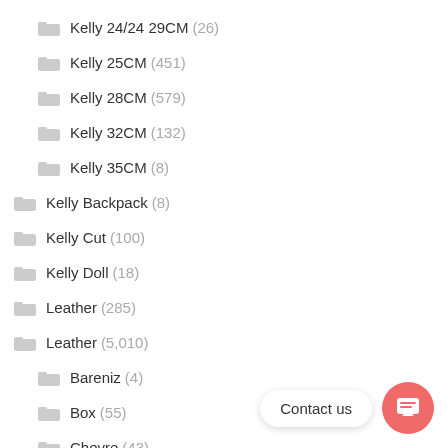Kelly 24/24 29CM (26)
Kelly 25CM (451)
Kelly 28CM (579)
Kelly 32CM (132)
Kelly 35CM (8)
Kelly Backpack (8)
Kelly Cut (100)
Kelly Doll (18)
Leather (285)
Leather (5,010)
Bareniz (4)
Box (55)
Chevre (43)